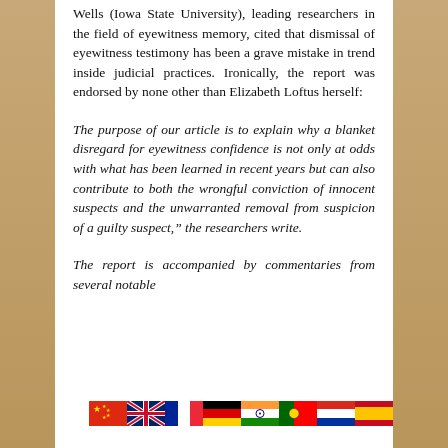Wells (Iowa State University), leading researchers in the field of eyewitness memory, cited that dismissal of eyewitness testimony has been a grave mistake in trend inside judicial practices. Ironically, the report was endorsed by none other than Elizabeth Loftus herself:
The purpose of our article is to explain why a blanket disregard for eyewitness confidence is not only at odds with what has been learned in recent years but can also contribute to both the wrongful conviction of innocent suspects and the unwarranted removal from suspicion of a guilty suspect," the researchers write.
The report is accompanied by commentaries from several notable